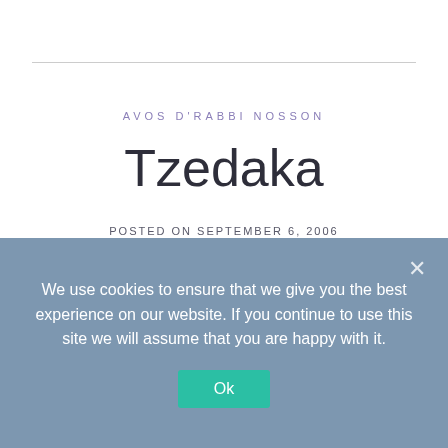AVOS D'RABBI NOSSON
Tzedaka
POSTED ON SEPTEMBER 6, 2006
This video is class 20 of 34 in the series Sage Guidance: Avos D'Rabbi Nosson.
In this Torah class Rabbi Yitzchak Cohen discusses
We use cookies to ensure that we give you the best experience on our website. If you continue to use this site we will assume that you are happy with it.